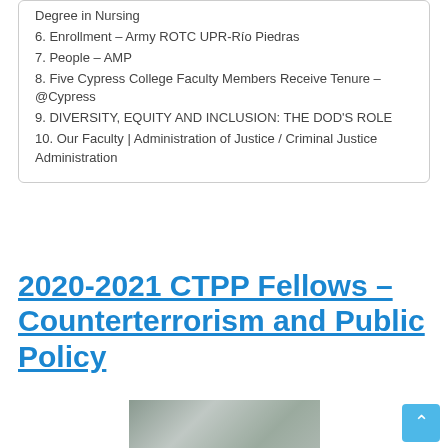Degree in Nursing
6. Enrollment – Army ROTC UPR-Río Piedras
7. People – AMP
8. Five Cypress College Faculty Members Receive Tenure – @Cypress
9. DIVERSITY, EQUITY AND INCLUSION: THE DOD'S ROLE
10. Our Faculty | Administration of Justice / Criminal Justice Administration
2020-2021 CTPP Fellows – Counterterrorism and Public Policy
[Figure (photo): Close-up photo of a U.S. Army uniform showing the 'U.S. ARMY' tape and an American flag patch on camouflage fabric]